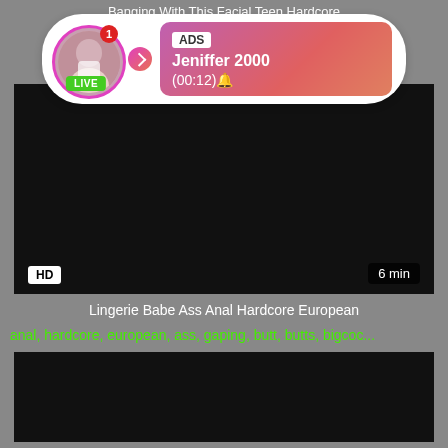Banging With This Facial Teen Hardcore
[Figure (infographic): Ad overlay with a live user avatar (woman in white top, circular with pink border, LIVE green badge, notification red dot), arrow button, and pink-to-red gradient info box showing ADS label, name Jeniffer 2000, time (00:12)]
[Figure (screenshot): Dark/black video player thumbnail with HD badge bottom-left and '6 min' duration badge bottom-right]
Lingerie Babe Ass Anal Hardcore European
anal, hardcore, european, ass, gaping, butt, butts, bigcoc...
[Figure (screenshot): Dark/black video player thumbnail at bottom of page]